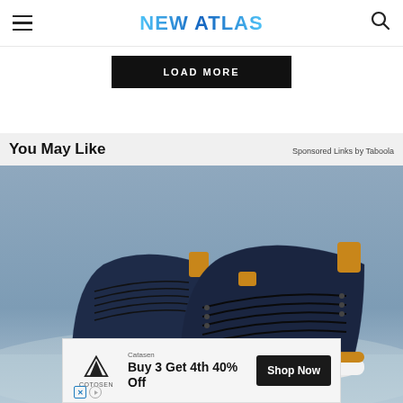NEW ATLAS
LOAD MORE
You May Like
Sponsored Links by Taboola
[Figure (photo): A pair of navy blue casual sneakers with tan/caramel leather accents and white soles, displayed on a light blue background resembling sandy texture. The shoes are low-top lace-up style.]
[Figure (infographic): Advertisement overlay for Cotosen brand. Logo shows mountain silhouette with text COTOSEN. Offer text: Catasen Buy 3 Get 4th 40% Off. Dark Shop Now button on right.]